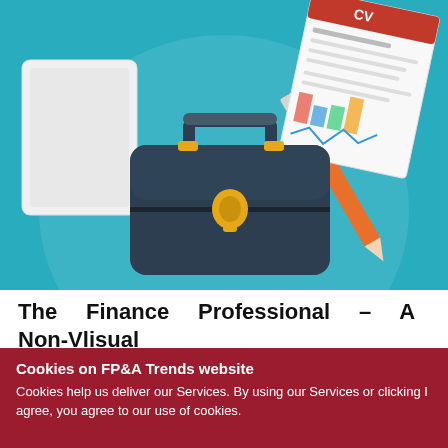[Figure (illustration): Flat-style illustration on a teal/blue background showing a dark briefcase in the center, a tablet/document on the left, an orange pencil on the right, and a CV/resume document with colorful charts in the upper right, all on a teal background with a large grey-blue circle.]
The Finance Professional – A Non-Vlisual Occupation
Cookies on FP&A Trends website
Cookies help us deliver our Services. By using our Services or clicking I agree, you agree to our use of cookies.